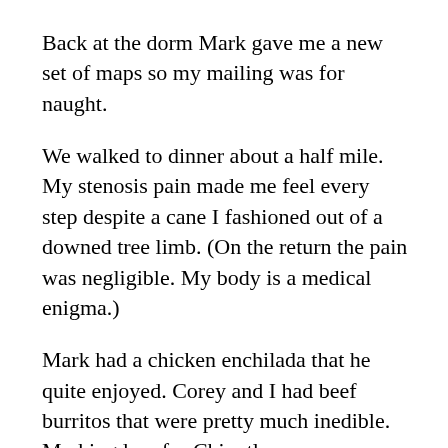Back at the dorm Mark gave me a new set of maps so my mailing was for naught.
We walked to dinner about a half mile. My stenosis pain made me feel every step despite a cane I fashioned out of a downed tree limb. (On the return the pain was negligible. My body is a medical enigma.)
Mark had a chicken enchilada that he quite enjoyed. Corey and I had beef burritos that were pretty much inedible. My kingdom for Chipotle.
Tomorrow is a rest day for all of us. Then we begin the ride to Hoosier Pass, about 6,000 feet of climbing over the next few days. Our first stop is the eccentric mountain stop of Guffey. It will be only 33 miles or so but we'll gain about 3,000 feet of gain. We are praying for tailwinds. There's a chance